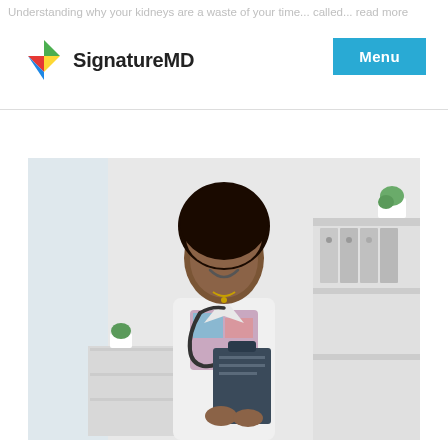Understanding why your kidneys are a waste of your time... called... read more
[Figure (logo): SignatureMD logo with colorful diamond/kite icon and bold text 'SignatureMD']
[Figure (photo): Female doctor in white lab coat with stethoscope, holding a clipboard, smiling, standing in a medical office with shelves and a plant in the background]